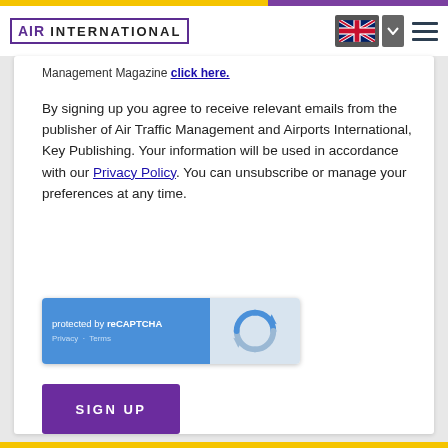AIR INTERNATIONAL
Management Magazine click here.
By signing up you agree to receive relevant emails from the publisher of Air Traffic Management and Airports International, Key Publishing. Your information will be used in accordance with our Privacy Policy. You can unsubscribe or manage your preferences at any time.
[Figure (screenshot): reCAPTCHA widget showing 'protected by reCAPTCHA' with Privacy and Terms links on blue background, and reCAPTCHA logo on grey background]
SIGN UP